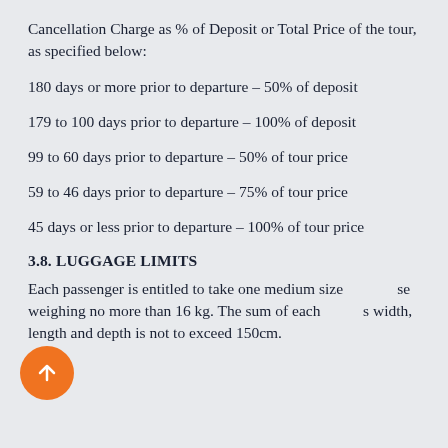Cancellation Charge as % of Deposit or Total Price of the tour, as specified below:
180 days or more prior to departure – 50% of deposit
179 to 100 days prior to departure – 100% of deposit
99 to 60 days prior to departure – 50% of tour price
59 to 46 days prior to departure – 75% of tour price
45 days or less prior to departure – 100% of tour price
3.8. LUGGAGE LIMITS
Each passenger is entitled to take one medium size case weighing no more than 16 kg. The sum of each case's width, length and depth is not to exceed 150cm. Passengers are also entitled to carry one small...